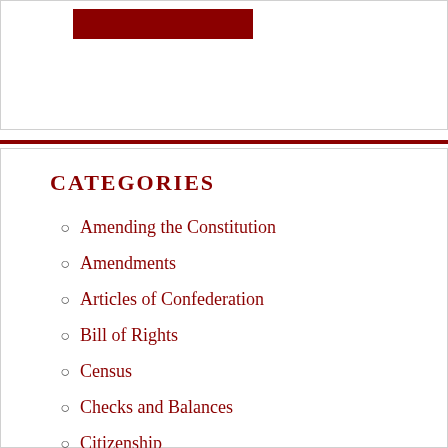CATEGORIES
Amending the Constitution
Amendments
Articles of Confederation
Bill of Rights
Census
Checks and Balances
Citizenship
Compromise
Congress
Constitutional Convention